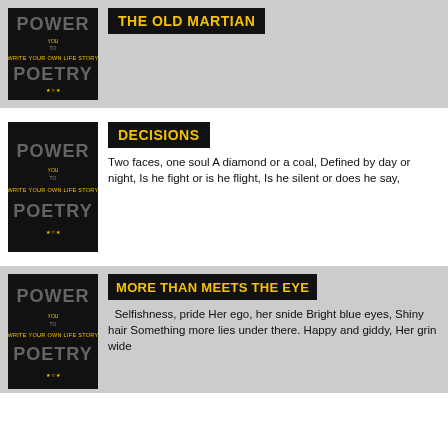[Figure (illustration): Power to Poetry logo - black background with stylized text POWER and POETRY]
THE OLD MARTIAN
[Figure (illustration): Power to Poetry logo - black background with stylized text POWER and POETRY]
DECISIONS
Two faces, one soul A diamond or a coal, Defined by day or night, Is he fight or is he flight, Is he silent or does he say,
[Figure (illustration): Power to Poetry logo - black background with stylized text POWER and POETRY]
MORE THAN MEETS THE EYE
Selfishness, pride Her ego, her snide Bright blue eyes, Shiny hair Something more lies under there. Happy and giddy, Her grin wide